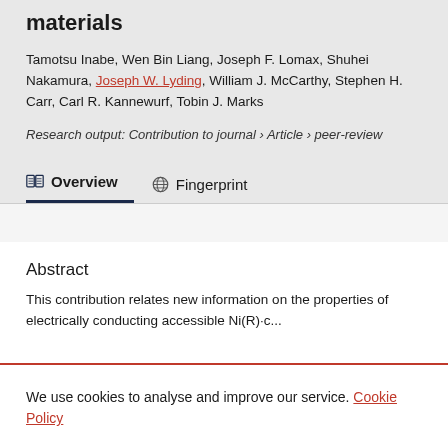materials
Tamotsu Inabe, Wen Bin Liang, Joseph F. Lomax, Shuhei Nakamura, Joseph W. Lyding, William J. McCarthy, Stephen H. Carr, Carl R. Kannewurf, Tobin J. Marks
Research output: Contribution to journal › Article › peer-review
Abstract
This contribution relates new information on the properties of electrically conducting accessible Ni(R)-c...
We use cookies to analyse and improve our service. Cookie Policy